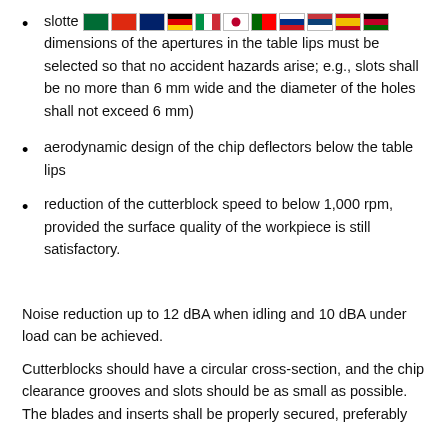slotted [flags] dimensions of the apertures in the table lips must be selected so that no accident hazards arise; e.g., slots shall be no more than 6 mm wide and the diameter of the holes shall not exceed 6 mm)
aerodynamic design of the chip deflectors below the table lips
reduction of the cutterblock speed to below 1,000 rpm, provided the surface quality of the workpiece is still satisfactory.
Noise reduction up to 12 dBA when idling and 10 dBA under load can be achieved.
Cutterblocks should have a circular cross-section, and the chip clearance grooves and slots should be as small as possible. The blades and inserts shall be properly secured, preferably